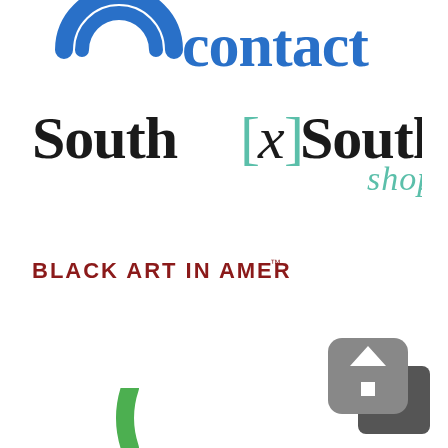[Figure (logo): Contact logo with blue circular target/eye icon and 'contact' text in blue serif font, partially cropped at top]
[Figure (logo): South[x]Southeast shop logo — 'South' in black serif, '[x]' bracket with teal x, 'Southeast' in black serif, 'shop' in teal below right]
[Figure (logo): BLACK ART IN AMERICA™ logo in dark red/maroon bold condensed caps]
[Figure (logo): Upload/share button icon — grey rounded square with white upward arrow, overlapping a smaller dark grey square, bottom right corner]